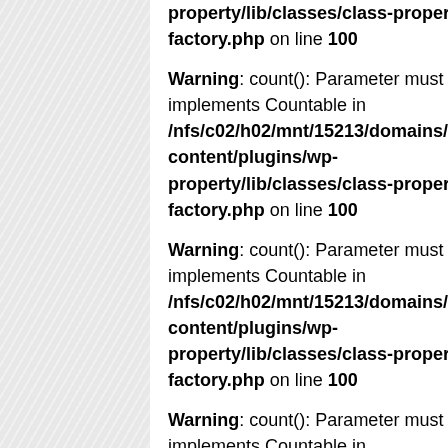property/lib/classes/class-property-factory.php on line 100
Warning: count(): Parameter must be an array or an object that implements Countable in /nfs/c02/h02/mnt/15213/domains/theonisiproperties.com/content/plugins/wp-property/lib/classes/class-property-factory.php on line 100
Warning: count(): Parameter must be an array or an object that implements Countable in /nfs/c02/h02/mnt/15213/domains/theonisiproperties.com/content/plugins/wp-property/lib/classes/class-property-factory.php on line 100
Warning: count(): Parameter must be an array or an object that implements Countable in /nfs/c02/h02/mnt/15213/domains/theonisiproperties.com/content/plugins/wp-property/lib/classes/class-property-factory.php